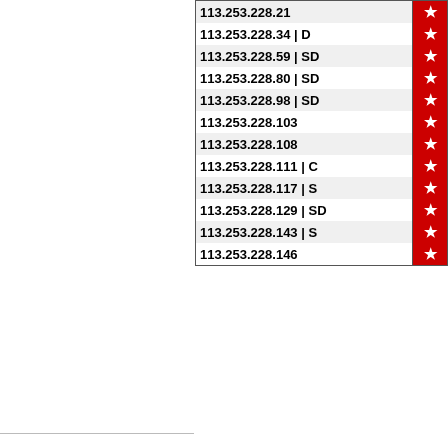| IP Address |  |
| --- | --- |
| 113.253.228.21 | ★ |
| 113.253.228.34 | D | ★ |
| 113.253.228.59 | SD | ★ |
| 113.253.228.80 | SD | ★ |
| 113.253.228.98 | SD | ★ |
| 113.253.228.103 | ★ |
| 113.253.228.108 | ★ |
| 113.253.228.111 | C | ★ |
| 113.253.228.117 | S | ★ |
| 113.253.228.129 | SD | ★ |
| 113.253.228.143 | S | ★ |
| 113.253.228.146 | ★ |
[Figure (logo): Facebook logo - blue square with white 'f' letter]
[Figure (logo): Twitter logo - light blue bird icon]
0 comment(s) - Comment on this IP
Privacy Policy | Terms of Use | About Project Honey Pot | FAQ | Copyright © 2004–22, Unspam Technologies, Inc. Advertisements displayed on this page are not necessarily end
Advertisements displayed on this page are not necessarily end